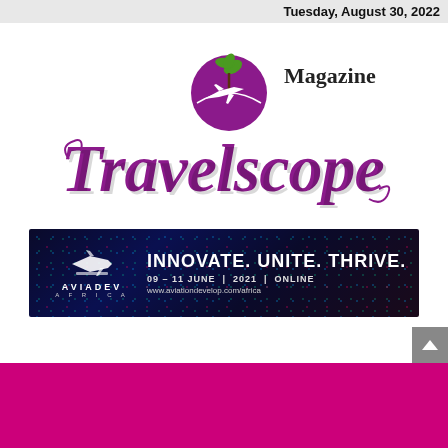Tuesday, August 30, 2022
[Figure (logo): Travelscope Magazine logo — large purple cursive 'Travelscope' with 'Magazine' in serif above, and a purple globe with palm tree and airplane icon]
[Figure (infographic): AviaDev Africa banner ad: INNOVATE. UNITE. THRIVE. 09-11 JUNE | 2021 | ONLINE, www.aviationdevelop.com/africa]
[Figure (infographic): Magenta/pink colored footer bar with Share This social icons (Facebook, Twitter, Instagram) and close button]